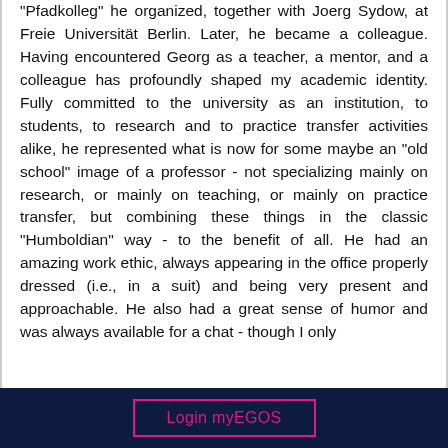"Pfadkolleg" he organized, together with Joerg Sydow, at Freie Universität Berlin. Later, he became a colleague. Having encountered Georg as a teacher, a mentor, and a colleague has profoundly shaped my academic identity. Fully committed to the university as an institution, to students, to research and to practice transfer activities alike, he represented what is now for some maybe an "old school" image of a professor - not specializing mainly on research, or mainly on teaching, or mainly on practice transfer, but combining these things in the classic "Humboldian" way - to the benefit of all. He had an amazing work ethic, always appearing in the office properly dressed (i.e., in a suit) and being very present and approachable. He also had a great sense of humor and was always available for a chat - though I only
Login myEGOS